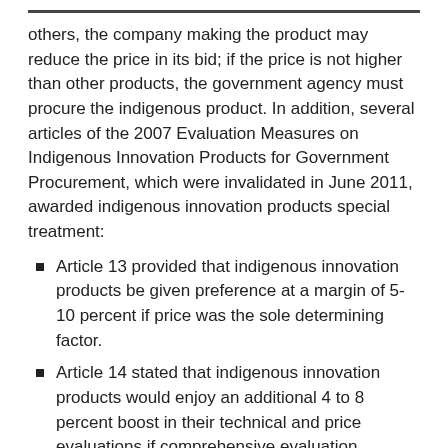others, the company making the product may reduce the price in its bid; if the price is not higher than other products, the government agency must procure the indigenous product. In addition, several articles of the 2007 Evaluation Measures on Indigenous Innovation Products for Government Procurement, which were invalidated in June 2011, awarded indigenous innovation products special treatment:
Article 13 provided that indigenous innovation products be given preference at a margin of 5-10 percent if price was the sole determining factor.
Article 14 stated that indigenous innovation products would enjoy an additional 4 to 8 percent boost in their technical and price evaluations if comprehensive evaluation methods were used. These comprehensive methods weighed technical